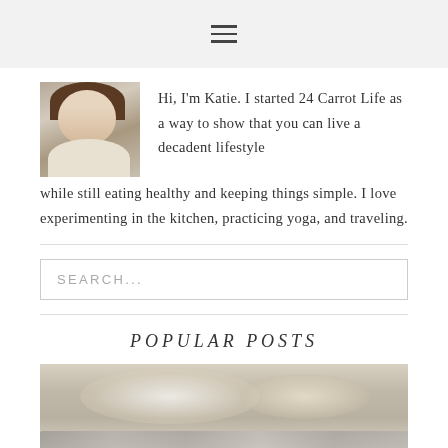☰ (hamburger menu icon)
Hi, I'm Katie. I started 24 Carrot Life as a way to show that you can live a decadent lifestyle while still eating healthy and keeping things simple. I love experimenting in the kitchen, practicing yoga, and traveling.
[Figure (photo): Profile photo of Katie, a young woman smiling]
SEARCH...
POPULAR POSTS
[Figure (photo): Food photo showing what appears to be a creamy dish with a fork, partially visible]